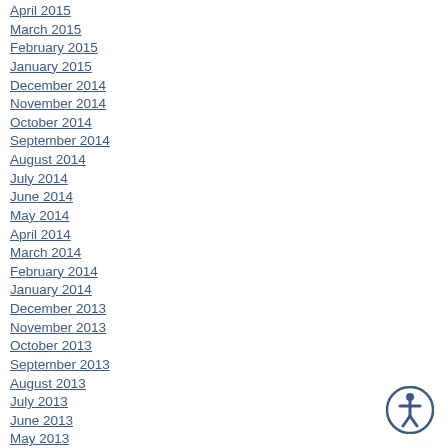April 2015
March 2015
February 2015
January 2015
December 2014
November 2014
October 2014
September 2014
August 2014
July 2014
June 2014
May 2014
April 2014
March 2014
February 2014
January 2014
December 2013
November 2013
October 2013
September 2013
August 2013
July 2013
June 2013
May 2013
[Figure (illustration): Accessibility icon button - circle with person figure, dark blue border]